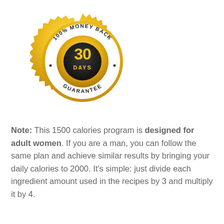[Figure (illustration): Gold seal/badge with '100% MONEY BACK GUARANTEE' text around the ring and '30 DAYS' in the center on a dark circular background]
Note: This 1500 calories program is designed for adult women. If you are a man, you can follow the same plan and achieve similar results by bringing your daily calories to 2000. It's simple: just divide each ingredient amount used in the recipes by 3 and multiply it by 4.